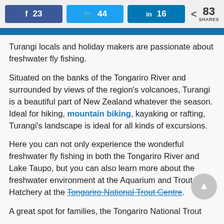Facebook 23  Twitter 44  LinkedIn 16  < 83 SHARES
Turangi locals and holiday makers are passionate about freshwater fly fishing.
Situated on the banks of the Tongariro River and surrounded by views of the region's volcanoes, Turangi is a beautiful part of New Zealand whatever the season. Ideal for hiking, mountain biking, kayaking or rafting, Turangi's landscape is ideal for all kinds of excursions.
Here you can not only experience the wonderful freshwater fly fishing in both the Tongariro River and Lake Taupo, but you can also learn more about the freshwater environment at the Aquarium and Trout Hatchery at the Tongariro National Trout Centre.
A great spot for families, the Tongariro National Trout